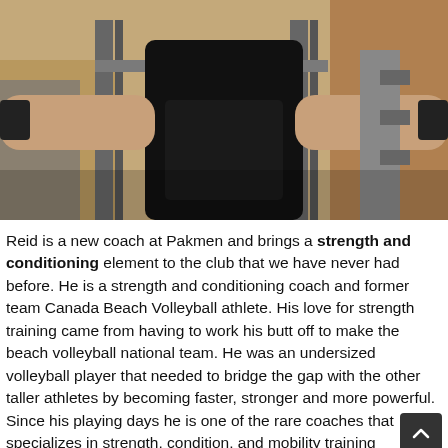[Figure (photo): A man in a black t-shirt exercising in a gym, holding dumbbells out to his sides, with gym equipment visible in the background.]
Reid is a new coach at Pakmen and brings a strength and conditioning element to the club that we have never had before. He is a strength and conditioning coach and former team Canada Beach Volleyball athlete. His love for strength training came from having to work his butt off to make the beach volleyball national team. He was an undersized volleyball player that needed to bridge the gap with the other taller athletes by becoming faster, stronger and more powerful. Since his playing days he is one of the rare coaches that specializes in strength, condition, and mobility training